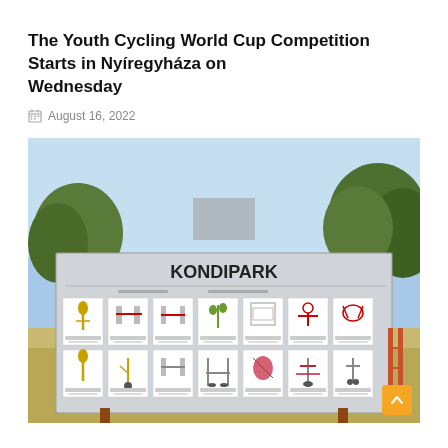The Youth Cycling World Cup Competition Starts in Nyíregyháza on Wednesday
August 16, 2022
[Figure (photo): Outdoor fitness park sign board labeled KONDIPARK showing 14 exercise station illustrations with equipment diagrams, mounted on wooden poles in a sunny park setting with trees and grass in the background.]